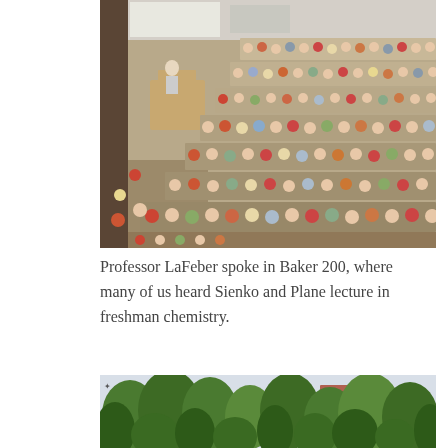[Figure (photo): Aerial view of a packed lecture hall (Baker 200) with rows of students seated in tiered seating, a professor at the podium at the front left.]
Professor LaFeber spoke in Baker 200, where many of us heard Sienko and Plane lecture in freshman chemistry.
[Figure (photo): Outdoor campus scene showing trees and a building partially visible through green foliage.]